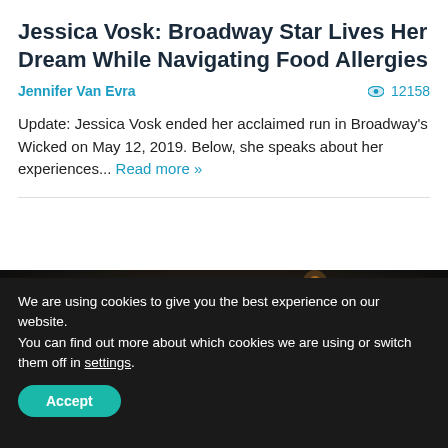Jessica Vosk: Broadway Star Lives Her Dream While Navigating Food Allergies
Jennifer Van Evra
12158
Update: Jessica Vosk ended her acclaimed run in Broadway's Wicked on May 12, 2019. Below, she speaks about her experiences... Read more »
[Figure (photo): Photo of people from behind in a dark setting, showing the tops/backs of multiple heads]
We are using cookies to give you the best experience on our website.
You can find out more about which cookies we are using or switch them off in settings.
Accept